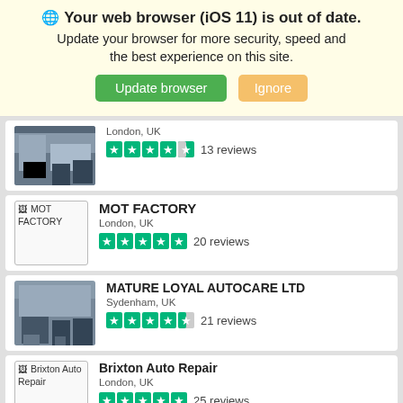Your web browser (iOS 11) is out of date.
Update your browser for more security, speed and the best experience on this site.
Update browser | Ignore
London, UK
4.5 stars · 13 reviews
MOT FACTORY
London, UK
5 stars · 20 reviews
MATURE LOYAL AUTOCARE LTD
Sydenham, UK
4.5 stars · 21 reviews
Brixton Auto Repair
London, UK
5 stars · 25 reviews
BOOST TECHNIK